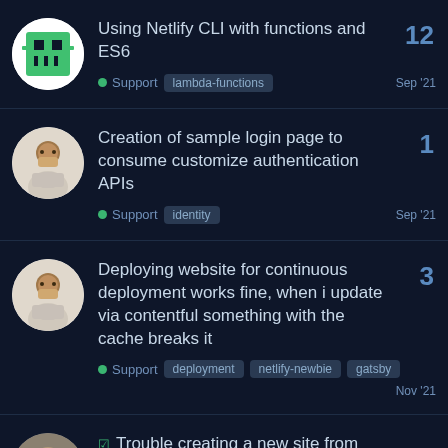Using Netlify CLI with functions and ES6 — Support, lambda-functions, Sep '21, 12 replies
Creation of sample login page to consume customize authentication APIs — Support, identity, Sep '21, 1 reply
Deploying website for continuous deployment works fine, when i update via contentful something with the cache breaks it — Support, deployment, netlify-newbie, gatsby, Nov '21, 3 replies
Trouble creating a new site from...